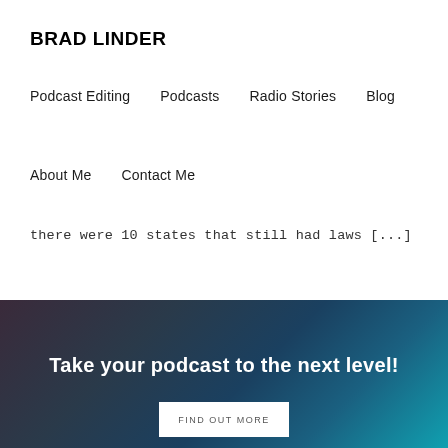BRAD LINDER
Podcast Editing   Podcasts   Radio Stories   Blog
About Me   Contact Me
there were 10 states that still had laws [...]
Take your podcast to the next level!
FIND OUT MORE